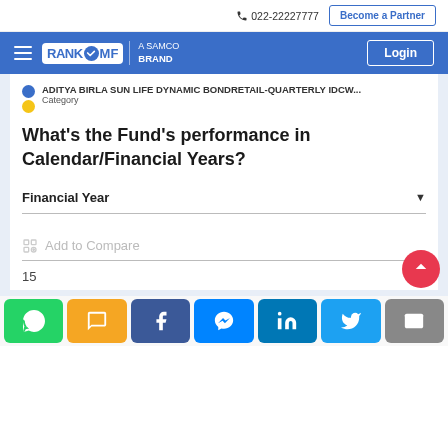022-22227777  Become a Partner
[Figure (logo): RankMF - A Samco Brand logo and navigation bar with Login button]
ADITYA BIRLA SUN LIFE DYNAMIC BONDRETAIL-QUARTERLY IDCW...  Category
What's the Fund's performance in Calendar/Financial Years?
Financial Year
Add to Compare
15
WhatsApp  SMS  Facebook  Messenger  LinkedIn  Twitter  Email